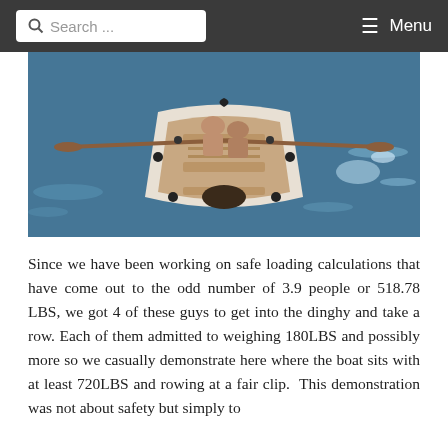Search ...   Menu
[Figure (photo): Aerial view of a white wooden rowing dinghy on blue water, with two people rowing using long wooden oars. The boat is viewed from above.]
Since we have been working on safe loading calculations that have come out to the odd number of 3.9 people or 518.78 LBS, we got 4 of these guys to get into the dinghy and take a row. Each of them admitted to weighing 180LBS and possibly more so we casually demonstrate here where the boat sits with at least 720LBS and rowing at a fair clip.  This demonstration was not about safety but simply to